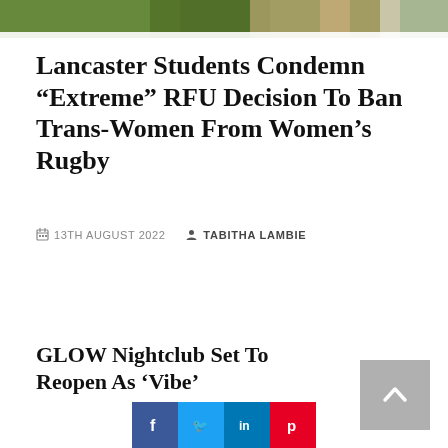[Figure (photo): Partial photo strip at top of page showing a sports/rugby scene outdoors]
Lancaster Students Condemn “Extreme” RFU Decision To Ban Trans-Women From Women’s Rugby
13TH AUGUST 2022   TABITHA LAMBIE
GLOW Nightclub Set To Reopen As ‘Vibe’